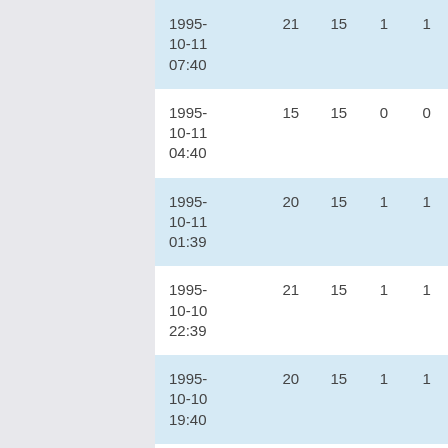| 1995-10-11 07:40 | 21 | 15 | 1 | 1 |
| 1995-10-11 04:40 | 15 | 15 | 0 | 0 |
| 1995-10-11 01:39 | 20 | 15 | 1 | 1 |
| 1995-10-10 22:39 | 21 | 15 | 1 | 1 |
| 1995-10-10 19:40 | 20 | 15 | 1 | 1 |
| 1995-10-10 16:38 | 19 | 17 | 0 | 0 |